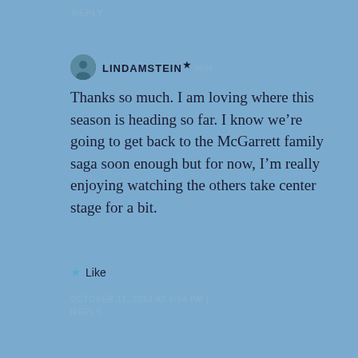REPLY
LINDAMSTEIN★
Thanks so much. I am loving where this season is heading so far. I know we're going to get back to the McGarrett family saga soon enough but for now, I'm really enjoying watching the others take center stage for a bit.
★ Like
OCTOBER 11, 2014 AT 6:54 PM | REPLY